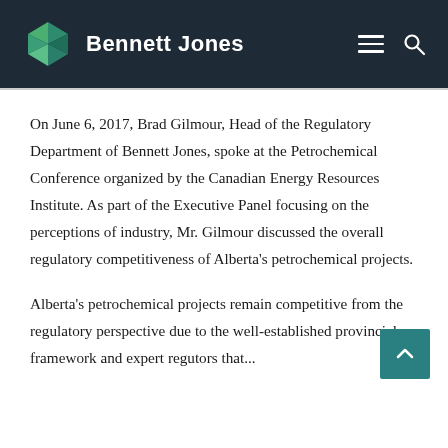Bennett Jones
On June 6, 2017, Brad Gilmour, Head of the Regulatory Department of Bennett Jones, spoke at the Petrochemical Conference organized by the Canadian Energy Resources Institute. As part of the Executive Panel focusing on the perceptions of industry, Mr. Gilmour discussed the overall regulatory competitiveness of Alberta's petrochemical projects.
Alberta's petrochemical projects remain competitive from the regulatory perspective due to the well-established provincial framework and expert regulators that...